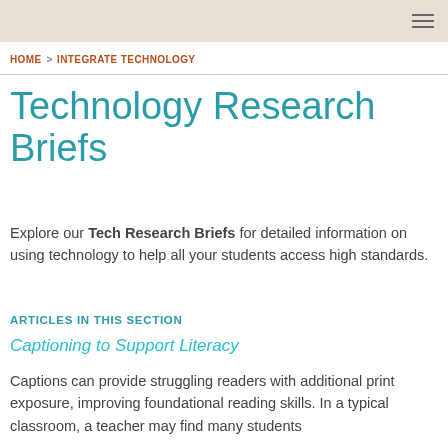HOME > INTEGRATE TECHNOLOGY
Technology Research Briefs
Explore our Tech Research Briefs for detailed information on using technology to help all your students access high standards.
ARTICLES IN THIS SECTION
Captioning to Support Literacy
Captions can provide struggling readers with additional print exposure, improving foundational reading skills. In a typical classroom, a teacher may find many students